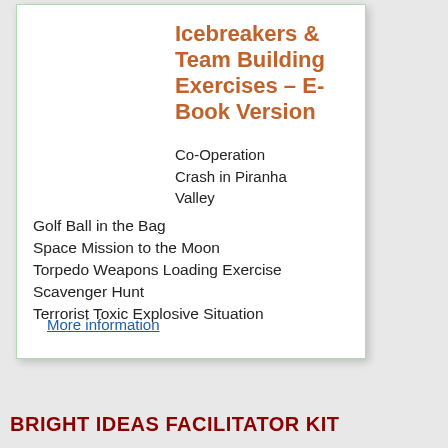Icebreakers & Team Building Exercises – E-Book Version
Co-Operation
Crash in Piranha Valley
Golf Ball in the Bag
Space Mission to the Moon
Torpedo Weapons Loading Exercise
Scavenger Hunt
Terrorist Toxic Explosive Situation
More information
BRIGHT IDEAS FACILITATOR KIT